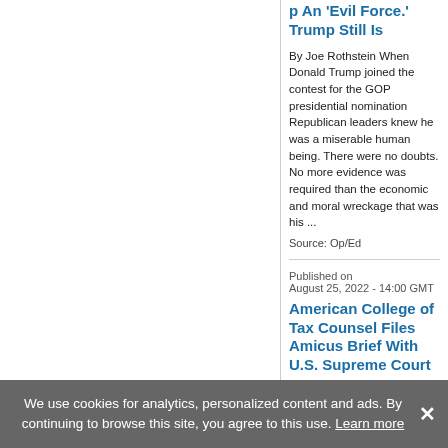p An 'Evil Force.' Trump Still Is
By Joe Rothstein When Donald Trump joined the contest for the GOP presidential nomination Republican leaders knew he was a miserable human being. There were no doubts. No more evidence was required than the economic and moral wreckage that was his ...
Source: Op/Ed
Published on
August 25, 2022 - 14:00 GMT
American College of Tax Counsel Files Amicus Brief With U.S. Supreme Court
National association of tax lawyers urges Supreme Court to overturn multiple
We use cookies for analytics, personalized content and ads. By continuing to browse this site, you agree to this use. Learn more